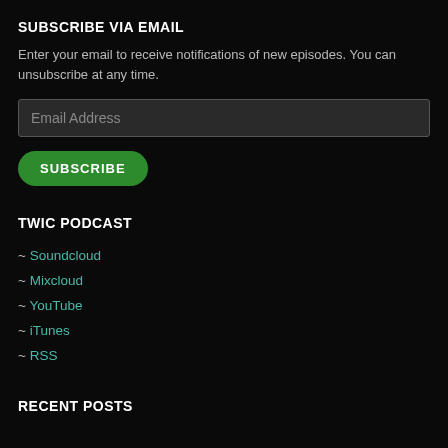SUBSCRIBE VIA EMAIL
Enter your email to receive notifications of new episodes. You can unsubscribe at any time.
Email Address
SUBSCRIBE
TWIC PODCAST
~ Soundcloud
~ Mixcloud
~ YouTube
~ iTunes
~ RSS
RECENT POSTS